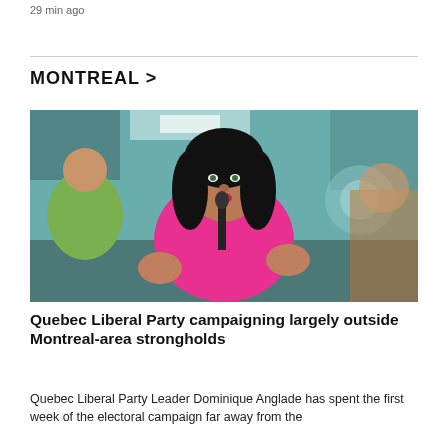29 min ago
MONTREAL >
[Figure (photo): Quebec Liberal Party Leader Dominique Anglade speaking at a microphone, wearing a bright pink blazer, gesturing with both hands, with a blurred teal/indoor background.]
Quebec Liberal Party campaigning largely outside Montreal-area strongholds
Quebec Liberal Party Leader Dominique Anglade has spent the first week of the electoral campaign far away from the